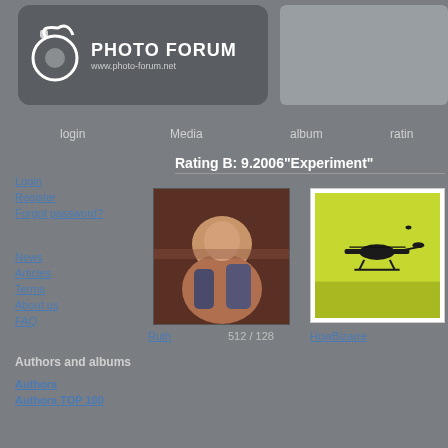[Figure (logo): Photo Forum logo with camera icon, text PHOTO FORUM and www.photo-forum.net]
login   Media   album   ratin
Rating B: 9.2006"Experiment"
Login
Register
Forgot password?
News
Articles
Terms
About us
FAQ
[Figure (photo): Dark reddish-brown toned photo of a person lying down, overhead view]
[Figure (photo): Photo of a helicopter silhouette against a yellow-green sky, with white border/mat]
Ruth
512 / 128
HowBizarre
Authors and albums
Authors
Authors TOP 100